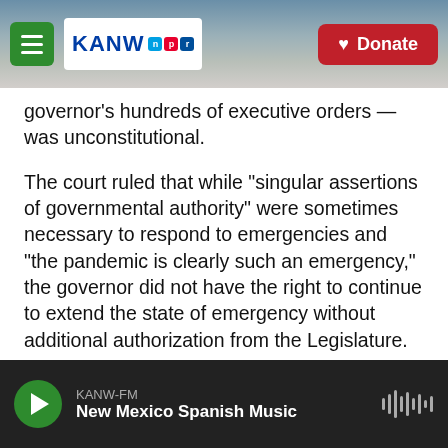KANW NPR — Donate
governor's hundreds of executive orders — was unconstitutional.
The court ruled that while "singular assertions of governmental authority" were sometimes necessary to respond to emergencies and "the pandemic is clearly such an emergency," the governor did not have the right to continue to extend the state of emergency without additional authorization from the Legislature.
In a video on Monday from the ceremonial office at the state Capitol, Whitmer addressed the ruling. Three days later, the alleged plot to kidnap her was
KANW-FM — New Mexico Spanish Music